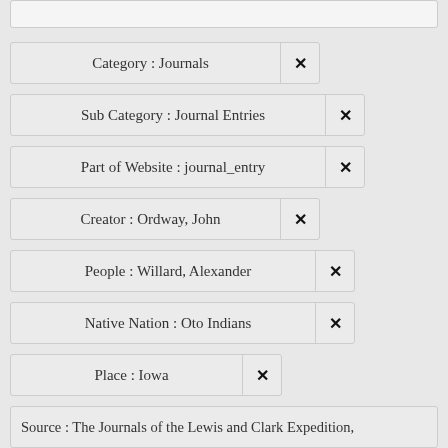Category : Journals
Sub Category : Journal Entries
Part of Website : journal_entry
Creator : Ordway, John
People : Willard, Alexander
Native Nation : Oto Indians
Place : Iowa
Source : The Journals of the Lewis and Clark Expedition,